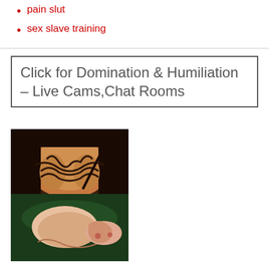pain slut
sex slave training
Click for Domination & Humiliation – Live Cams,Chat Rooms
[Figure (photo): Two adult content images stacked vertically]